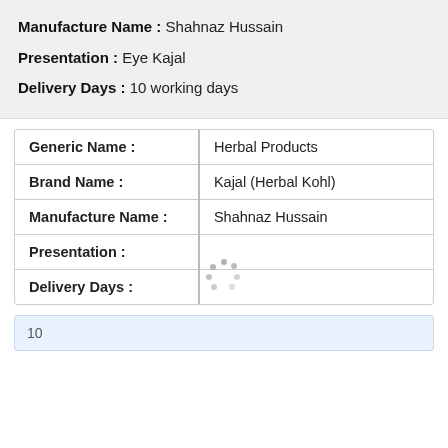Manufacture Name : Shahnaz Hussain
Presentation : Eye Kajal
Delivery Days : 10 working days
| Field | Value |
| --- | --- |
| Generic Name : | Herbal Products |
| Brand Name : | Kajal (Herbal Kohl) |
| Manufacture Name : | Shahnaz Hussain |
| Presentation : |  |
| Delivery Days : |  |
10